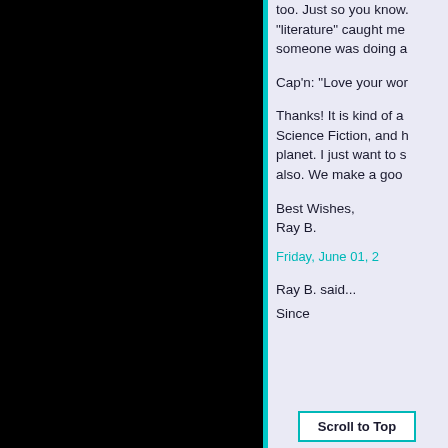too. Just so you know. "literature" caught me someone was doing a
Cap'n: "Love your wor
Thanks! It is kind of a Science Fiction, and h planet. I just want to s also. We make a goo
Best Wishes,
Ray B.
Friday, June 01, 2
Ray B. said...
Since al
Scroll to Top